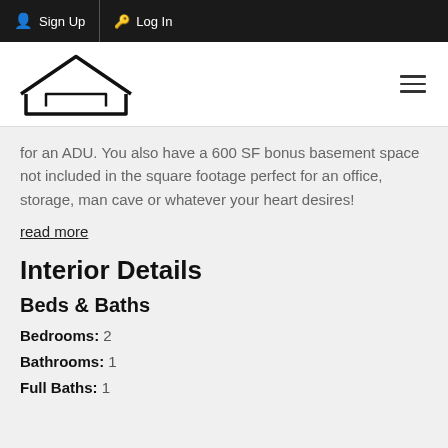Sign Up   Log In
[Figure (logo): Albert Garcia Realtor logo — house outline with company name below]
for an ADU. You also have a 600 SF bonus basement space not included in the square footage perfect for an office, storage, man cave or whatever your heart desires!
read more
Interior Details
Beds & Baths
Bedrooms:  2
Bathrooms:  1
Full Baths:  1